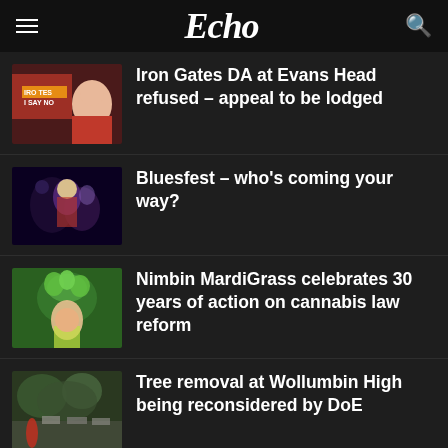Echo
Iron Gates DA at Evans Head refused – appeal to be lodged
Bluesfest – who's coming your way?
Nimbin MardiGrass celebrates 30 years of action on cannabis law reform
Tree removal at Wollumbin High being reconsidered by DoE